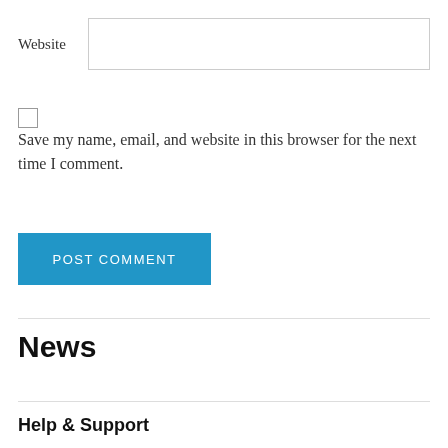Website
Save my name, email, and website in this browser for the next time I comment.
POST COMMENT
News
Help & Support